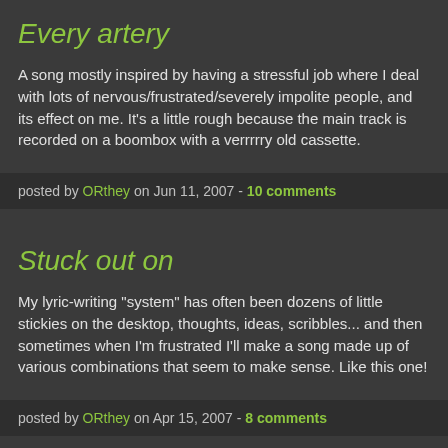Every artery
A song mostly inspired by having a stressful job where I deal with lots of nervous/frustrated/severely impolite people, and its effect on me. It's a little rough because the main track is recorded on a boombox with a verrrrry old cassette.
posted by ORthey on Jun 11, 2007 - 10 comments
Stuck out on
My lyric-writing "system" has often been dozens of little stickies on the desktop, thoughts, ideas, scribbles... and then sometimes when I'm frustrated I'll make a song made up of various combinations that seem to make sense. Like this one!
posted by ORthey on Apr 15, 2007 - 8 comments